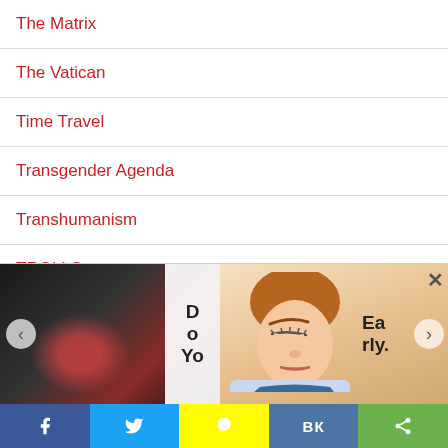The Matrix
The Vatican
Time Travel
Transgender Agenda
Transhumanism
TROLLS
Tyranny
Uncategorized
Universal Basic Income
[Figure (photo): Bottom ad strip with two panels: left panel shows dark photo with red highlight, text 'D O Yo'; right panel shows animated illustration of sleeping woman's face, text 'Ea rly.']
Social share buttons: Facebook, Twitter, Snapchat, VK, Share